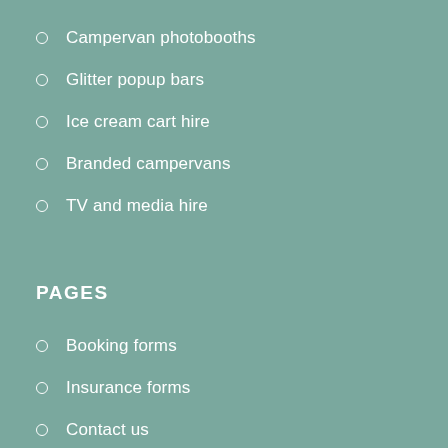Campervan photobooths
Glitter popup bars
Ice cream cart hire
Branded campervans
TV and media hire
PAGES
Booking forms
Insurance forms
Contact us
POLICIES